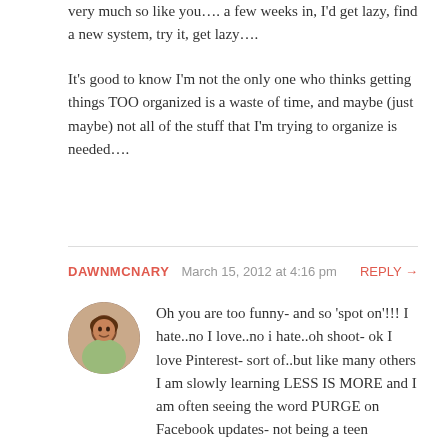very much so like you…. a few weeks in, I'd get lazy, find a new system, try it, get lazy….
It's good to know I'm not the only one who thinks getting things TOO organized is a waste of time, and maybe (just maybe) not all of the stuff that I'm trying to organize is needed….
DAWNMCNARY   March 15, 2012 at 4:16 pm   REPLY →
Oh you are too funny- and so 'spot on'!!! I hate..no I love..no i hate..oh shoot- ok I love Pinterest- sort of..but like many others I am slowly learning LESS IS MORE and I am often seeing the word PURGE on Facebook updates- not being a teen anymore I no longer am worried that my friends have an eating disorder- when I see the word PURGE I now know they have FOUND THE LIGHT and are in the midst of